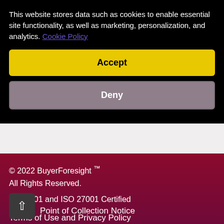This website stores data such as cookies to enable essential site functionality, as well as marketing, personalization, and analytics. Cookie Policy
Accept
Deny
© 2022 BuyerForesight ™
All Rights Reserved.
ISO 9001 and ISO 27001 Certified
Terms of Use and Privacy Policy
Point of Collection Notice